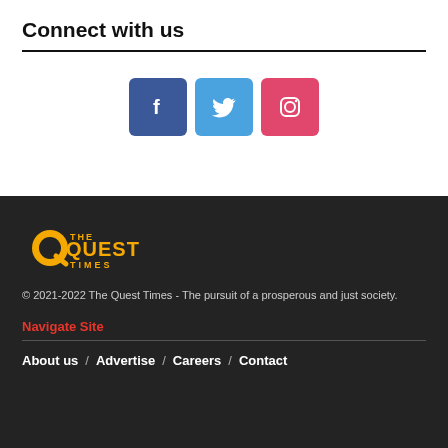Connect with us
[Figure (infographic): Three social media icons: Facebook (dark blue), Twitter (light blue), Instagram (pink/red), each in rounded square buttons]
[Figure (logo): The Quest Times logo in orange/yellow on dark background]
© 2021-2022 The Quest Times - The pursuit of a prosperous and just society.
Navigate Site
About us / Advertise / Careers / Contact